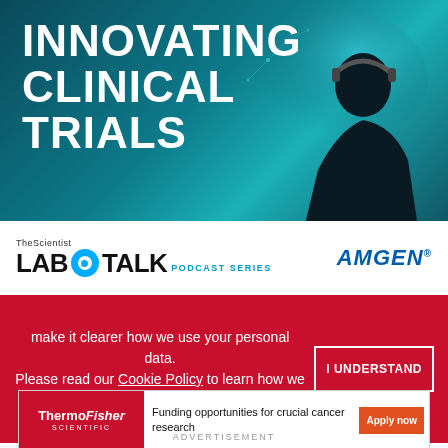[Figure (illustration): Innovating Clinical Trials banner with teal/dark background and person silhouette with headset, Lab Talk Podcast Series logo and Amgen logo]
Innovating Clinical Trials Q&A
Webinars
[Figure (logo): Amgen logo in blue box]
make it clearer how we use your personal data.
Please read our Cookie Policy to learn how we use cookies to provide you
I UNDERSTAND
[Figure (logo): ThermoFisher Scientific advertisement: Funding opportunities for crucial cancer research. Apply now button.]
ADVERTISEMENT